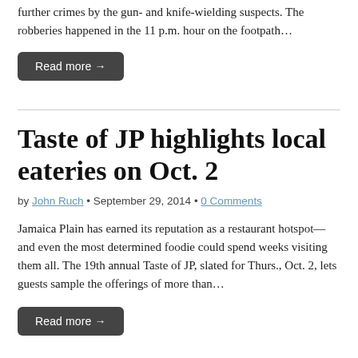Boston Police Department is warning residents to be alert for further crimes by the gun- and knife-wielding suspects. The robberies happened in the 11 p.m. hour on the footpath…
Read more →
Taste of JP highlights local eateries on Oct. 2
by John Ruch • September 29, 2014 • 0 Comments
Jamaica Plain has earned its reputation as a restaurant hotspot—and even the most determined foodie could spend weeks visiting them all. The 19th annual Taste of JP, slated for Thurs., Oct. 2, lets guests sample the offerings of more than…
Read more →